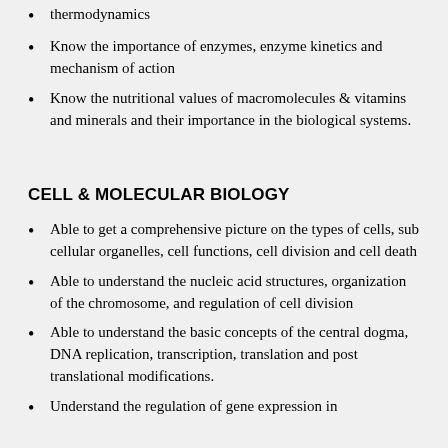thermodynamics
Know the importance of enzymes, enzyme kinetics and mechanism of action
Know the nutritional values of macromolecules & vitamins and minerals and their importance in the biological systems.
CELL & MOLECULAR BIOLOGY
Able to get a comprehensive picture on the types of cells, sub cellular organelles, cell functions, cell division and cell death
Able to understand the nucleic acid structures, organization of the chromosome, and regulation of cell division
Able to understand the basic concepts of the central dogma, DNA replication, transcription, translation and post translational modifications.
Understand the regulation of gene expression in